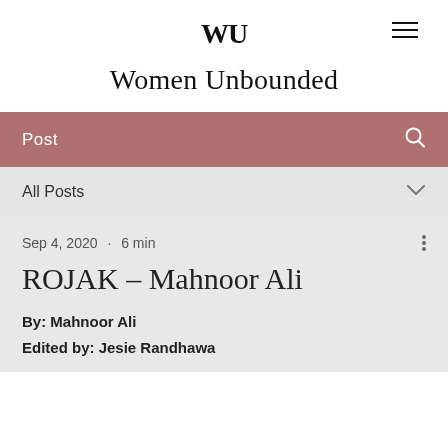WU
Women Unbounded
Post
All Posts
Sep 4, 2020  ·  6 min
ROJAK – Mahnoor Ali
By: Mahnoor Ali
Edited by: Jesie Randhawa